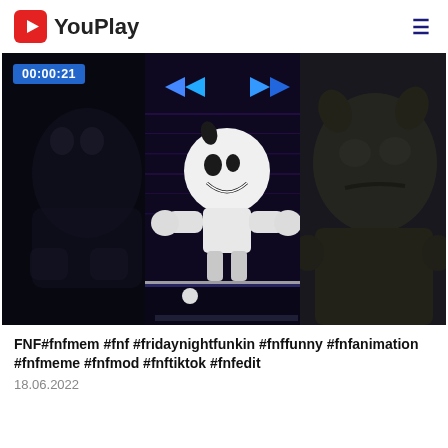YouPlay
[Figure (screenshot): Video player screenshot showing a Friday Night Funkin game with Bendy character in center panel, dark cartoon character on right, arrow indicators at top, timestamp 00:00:21 in blue box top-left, dark background]
FNF#fnfmem #fnf #fridaynightfunkin #fnffunny #fnfanimation #fnfmeme #fnfmod #fnftiktok #fnfedit
18.06.2022